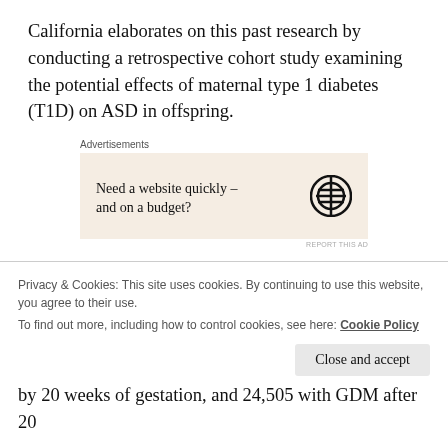California elaborates on this past research by conducting a retrospective cohort study examining the potential effects of maternal type 1 diabetes (T1D) on ASD in offspring.
[Figure (other): Advertisement box with text 'Need a website quickly – and on a budget?' and WordPress logo]
Using a sample of 419,425 children, 51% of whom were boys, the researchers used statistical analyses to determine the strength of the association between
Privacy & Cookies: This site uses cookies. By continuing to use this website, you agree to their use. To find out more, including how to control cookies, see here: Cookie Policy
by 20 weeks of gestation, and 24,505 with GDM after 20